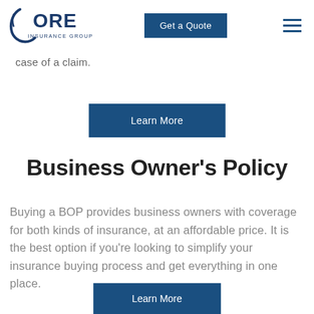CORE INSURANCE GROUP | Get a Quote
case of a claim.
Learn More
Business Owner's Policy
Buying a BOP provides business owners with coverage for both kinds of insurance, at an affordable price. It is the best option if you’re looking to simplify your insurance buying process and get everything in one place.